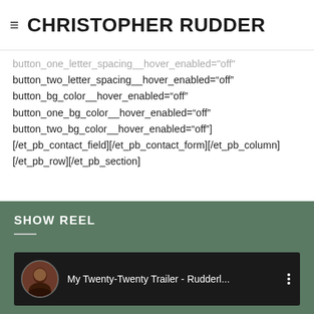≡ CHRISTOPHER RUDDER
button_one_letter_spacing__hover_enabled="off"
button_two_letter_spacing__hover_enabled="off"
button_bg_color__hover_enabled="off"
button_one_bg_color__hover_enabled="off"
button_two_bg_color__hover_enabled="off"]
[/et_pb_contact_field][/et_pb_contact_form][/et_pb_column]
[/et_pb_row][/et_pb_section]
SHOW REEL
[Figure (screenshot): YouTube video thumbnail showing a video titled 'My Twenty-Twenty Trailer - Rudderl...' with a circular avatar of a person on the left and a three-dot menu on the right, on a dark background.]